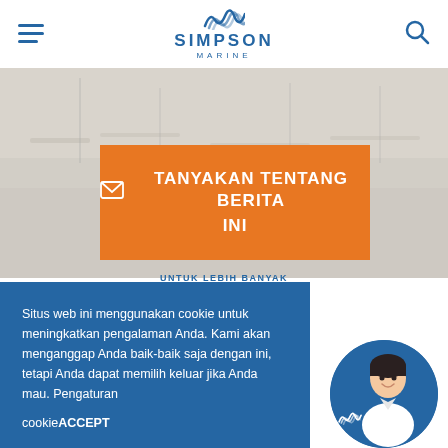SIMPSON MARINE
[Figure (screenshot): Background image of a marina/boat dock, light beige/grey tones]
TANYAKAN TENTANG BERITA INI
UNTUK LEBIH BANYAK
Situs web ini menggunakan cookie untuk meningkatkan pengalaman Anda. Kami akan menganggap Anda baik-baik saja dengan ini, tetapi Anda dapat memilih keluar jika Anda mau. Pengaturan cookie ACCEPT
[Figure (photo): Circular avatar of a smiling woman in white uniform against blue background with Simpson Marine logo]